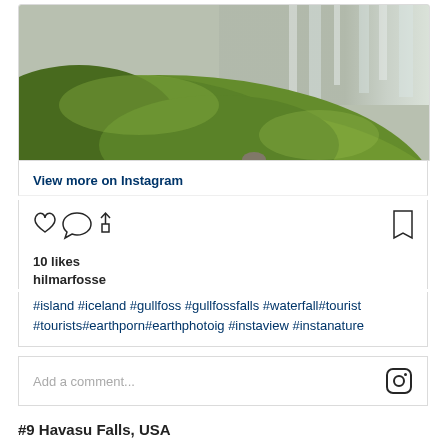[Figure (photo): Mossy green hillside with a waterfall visible in the upper right corner, Gullfoss Iceland]
View more on Instagram
[Figure (other): Instagram action icons: heart, comment bubble, share, bookmark]
10 likes
hilmarfosse
#island #iceland #gullfoss #gullfossfalls #waterfall#tourist #tourists#earthporn#earthphotoig #instaview #instanature
Add a comment...
#9 Havasu Falls, USA